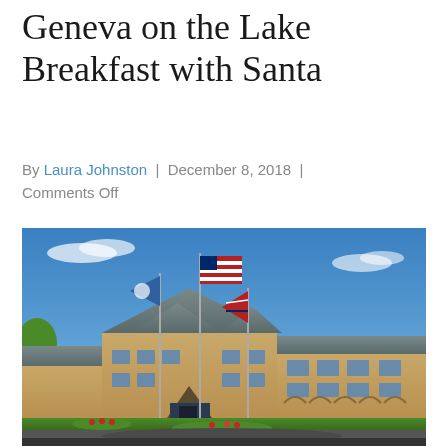Geneva on the Lake Breakfast with Santa
By Laura Johnston | December 8, 2018 | Comments Off
[Figure (photo): Exterior photo of Geneva on the Lake resort hotel, showing a large stone and brick building with gray roofs and three flagpoles flying an American flag, a blue state flag, and another flag. The scene shows a sunny summer day with a blue sky, green lawn, and a circular driveway in the foreground.]